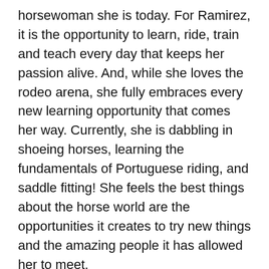horsewoman she is today. For Ramirez, it is the opportunity to learn, ride, train and teach every day that keeps her passion alive. And, while she loves the rodeo arena, she fully embraces every new learning opportunity that comes her way. Currently, she is dabbling in shoeing horses, learning the fundamentals of Portuguese riding, and saddle fitting! She feels the best things about the horse world are the opportunities it creates to try new things and the amazing people it has allowed her to meet.
As a dedicated horsewoman who believes strongly in the importance of horsemanship, Ramirez is very honest about the challenges of being a competitive equestrian and working with performance horses. When asked she will tell you “The hardest part would be trying to maintain and keep your horse performing 100% while being free from injury. Whether it's the proper nutrition, or hiring a good farrier, I'm